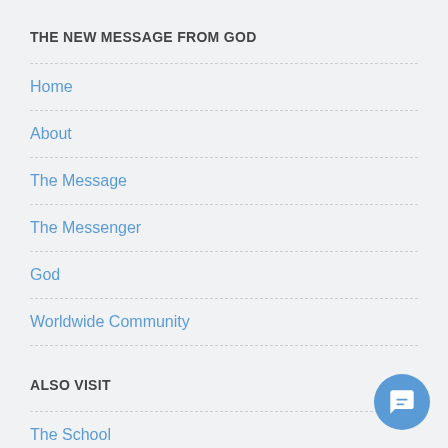THE NEW MESSAGE FROM GOD
Home
About
The Message
The Messenger
God
Worldwide Community
ALSO VISIT
The School
Events
The Wiki
Community Store